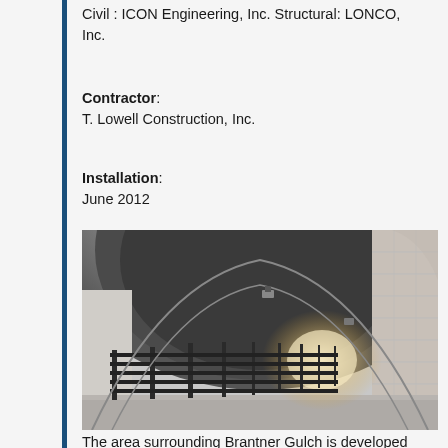Civil : ICON Engineering, Inc. Structural: LONCO, Inc.
Contractor:
T. Lowell Construction, Inc.
Installation:
June 2012
[Figure (photo): Interior view of an arched pedestrian tunnel underpass with white/grey walls, a metal fence/railing along one side, and lighting visible at the far end of the tunnel.]
The area surrounding Brantner Gulch is developed